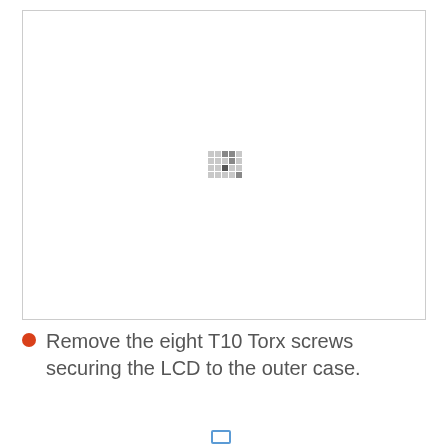[Figure (photo): A mostly white/blank image panel with a small loading or placeholder pixel-art icon in the center, consisting of a 5x4 grid of small squares in various shades of gray and dark gray, suggesting an image that failed to load or is loading.]
Remove the eight T10 Torx screws securing the LCD to the outer case.